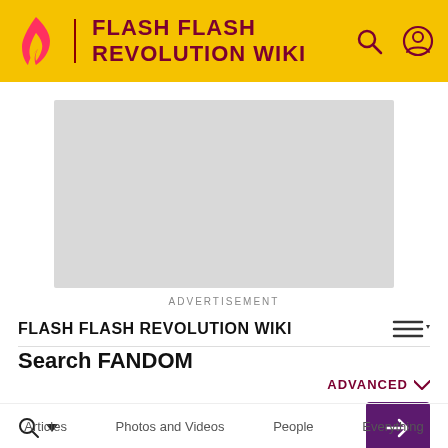FLASH FLASH REVOLUTION WIKI
[Figure (other): Advertisement placeholder box (gray rectangle)]
ADVERTISEMENT
FLASH FLASH REVOLUTION WIKI
Search FANDOM
ADVANCED
Articles  Photos and Videos  People  Everything